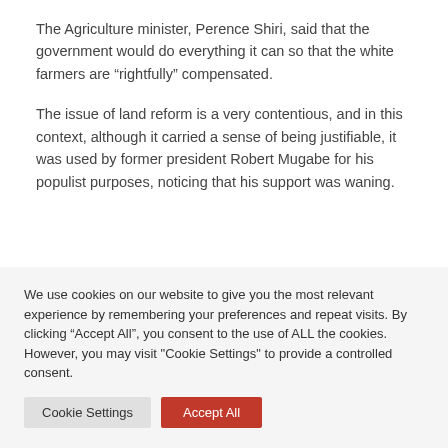The Agriculture minister, Perence Shiri, said that the government would do everything it can so that the white farmers are “rightfully” compensated.
The issue of land reform is a very contentious, and in this context, although it carried a sense of being justifiable, it was used by former president Robert Mugabe for his populist purposes, noticing that his support was waning.
We use cookies on our website to give you the most relevant experience by remembering your preferences and repeat visits. By clicking “Accept All”, you consent to the use of ALL the cookies. However, you may visit "Cookie Settings" to provide a controlled consent.